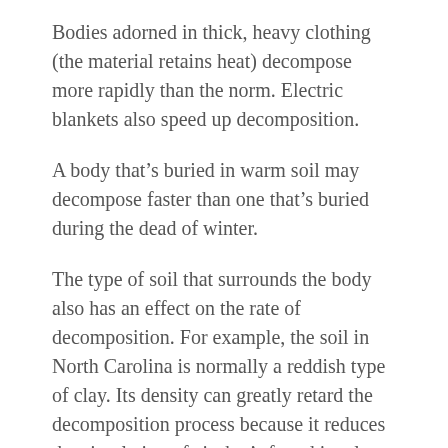Bodies adorned in thick, heavy clothing (the material retains heat) decompose more rapidly than the norm. Electric blankets also speed up decomposition.
A body that’s buried in warm soil may decompose faster than one that’s buried during the dead of winter.
The type of soil that surrounds the body also has an effect on the rate of decomposition. For example, the soil in North Carolina is normally a reddish type of clay. Its density can greatly retard the decomposition process because it reduces the circulation of air that’s found in a less compacted, more sandy-type of earth.
Adult bodies buried in a well drained soil will typically become skeletonized in approximately 10 years. A child’s body in about five years.
The rule of thumb for the decomposition of a body is, (if